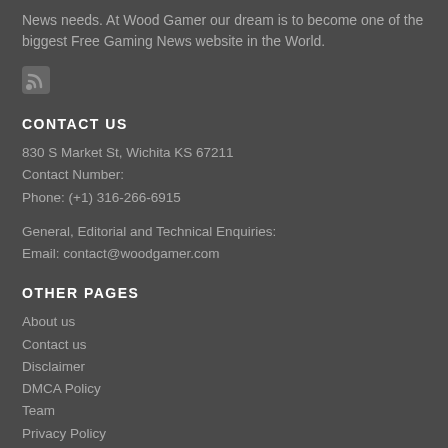News needs. At Wood Gamer our dream is to become one of the biggest Free Gaming News website in the World.
[Figure (logo): RSS feed icon]
CONTACT US
830 S Market St, Wichita KS 67211
Contact Number:
Phone: (+1) 316-266-6915
General, Editorial and Technical Enquiries:
Email: contact@woodgamer.com
OTHER PAGES
About us
Contact us
Disclaimer
DMCA Policy
Team
Privacy Policy
Terms and Conditions